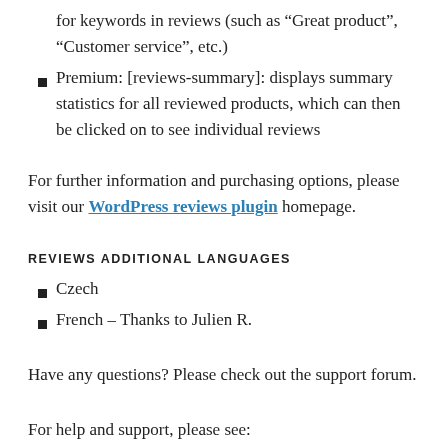for keywords in reviews (such as “Great product”, “Customer service”, etc.)
Premium: [reviews-summary]: displays summary statistics for all reviewed products, which can then be clicked on to see individual reviews
For further information and purchasing options, please visit our WordPress reviews plugin homepage.
REVIEWS ADDITIONAL LANGUAGES
Czech
French – Thanks to Julien R.
Have any questions? Please check out the support forum.
For help and support, please see: